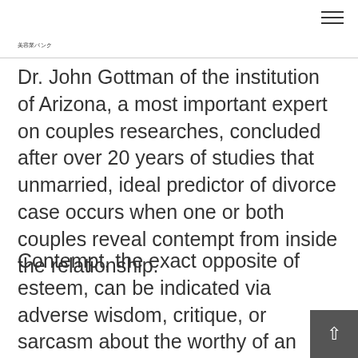美容業パンク
Dr. John Gottman of the institution of Arizona, a most important expert on couples researches, concluded after over 20 years of studies that unmarried, ideal predictor of divorce case occurs when one or both couples reveal contempt from inside the relationship.
Contempt, the exact opposite of esteem, can be indicated via adverse wisdom, critique, or sarcasm about the worthy of an individual. In correspondence studie